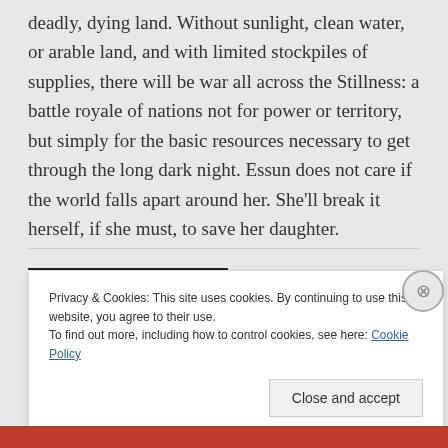deadly, dying land. Without sunlight, clean water, or arable land, and with limited stockpiles of supplies, there will be war all across the Stillness: a battle royale of nations not for power or territory, but simply for the basic resources necessary to get through the long dark night. Essun does not care if the world falls apart around her. She'll break it herself, if she must, to save her daughter.
Privacy & Cookies: This site uses cookies. By continuing to use this website, you agree to their use. To find out more, including how to control cookies, see here: Cookie Policy